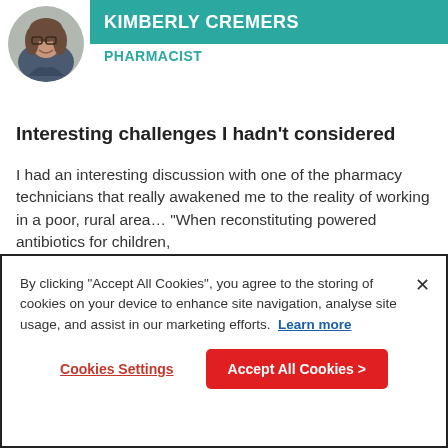[Figure (photo): Circular profile photo of Kimberly Cremers, a woman with glasses and shoulder-length hair]
KIMBERLY CREMERS
PHARMACIST
Interesting challenges I hadn't considered
I had an interesting discussion with one of the pharmacy technicians that really awakened me to the reality of working in a poor, rural area… "When reconstituting powered antibiotics for children,
10 FEB 2014 / 2 MINUTE READ
By clicking "Accept All Cookies", you agree to the storing of cookies on your device to enhance site navigation, analyse site usage, and assist in our marketing efforts. Learn more
Cookies Settings
Accept All Cookies >